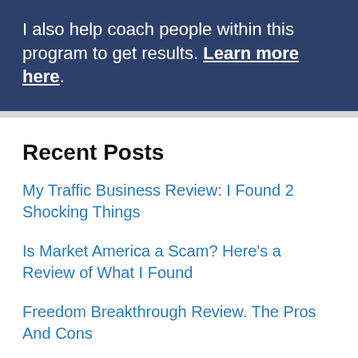I also help coach people within this program to get results. Learn more here.
Recent Posts
My Traffic Business Review: I Found 2 Shocking Things
Is Market America a Scam? Here's a Review of What I Found
Freedom Breakthrough Review. The Pros And Cons
Affilorama vs Wealthy Affiliate. Which Program